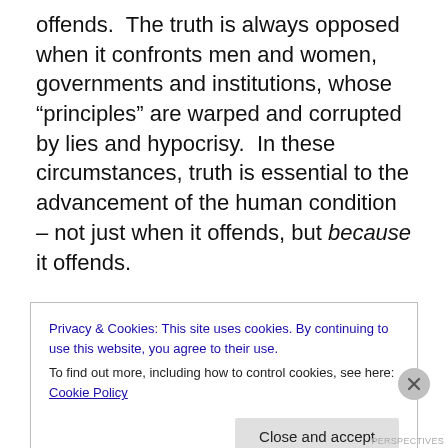offends.  The truth is always opposed when it confronts men and women, governments and institutions, whose “principles” are warped and corrupted by lies and hypocrisy.  In these circumstances, truth is essential to the advancement of the human condition – not just when it offends, but because it offends.
The world as we know it today didn’t just come about over night.  Down through the ages, the broadening of views, ideas and perspectives and the shifting of paradigms in the religious, political, economic, scientific, social and
Privacy & Cookies: This site uses cookies. By continuing to use this website, you agree to their use.
To find out more, including how to control cookies, see here: Cookie Policy
Close and accept